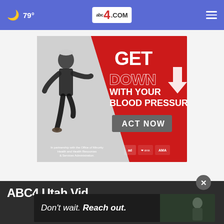🌙 79° abc4.COM ☰
[Figure (illustration): Advertisement: GET DOWN WITH YOUR BLOOD PRESSURE - ACT NOW. In partnership with the Office of Minority Health and Health Resources & Services Administration. Features a man dancing/jumping on a red background with white diagonal element.]
ABC4 Utah Vid...
[Figure (photo): Advertisement overlay: Don't wait. Reach out. Dark background with person in distress.]